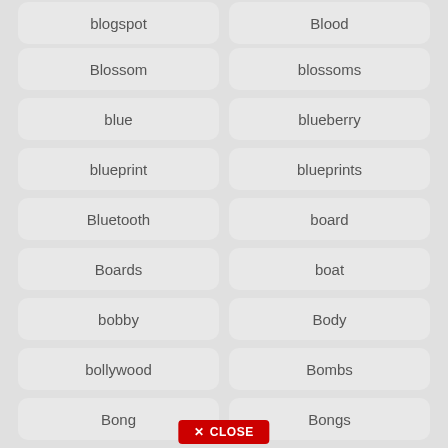blogspot
Blood
Blossom
blossoms
blue
blueberry
blueprint
blueprints
Bluetooth
board
Boards
boat
bobby
Body
bollywood
Bombs
Bong
Bongs
bonus
book